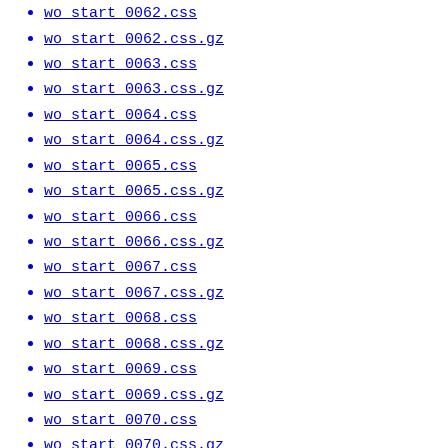wo_start_0062.css
wo_start_0062.css.gz
wo_start_0063.css
wo_start_0063.css.gz
wo_start_0064.css
wo_start_0064.css.gz
wo_start_0065.css
wo_start_0065.css.gz
wo_start_0066.css
wo_start_0066.css.gz
wo_start_0067.css
wo_start_0067.css.gz
wo_start_0068.css
wo_start_0068.css.gz
wo_start_0069.css
wo_start_0069.css.gz
wo_start_0070.css
wo_start_0070.css.gz
wo_start_0071.css
wo_start_0071.css.gz
wo_start_0072.css
wo_start_0072.css.gz
wo_start_0073.css
wo_start_0073.css.gz
wo_start_0077.css
wo_start_0077...